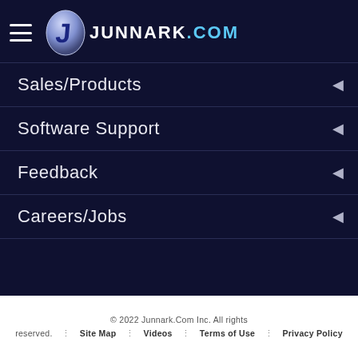JUNNARK.COM navigation header with hamburger menu and logo
Sales/Products
Software Support
Feedback
Careers/Jobs
© 2022 Junnark.Com Inc. All rights reserved. ⋮ Site Map ⋮ Videos ⋮ Terms of Use ⋮ Privacy Policy